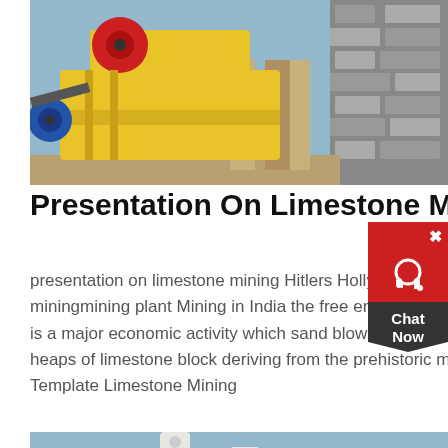[Figure (photo): Yellow and red heavy mining/crushing machine equipment outdoors near stone wall and blue sky]
Presentation On Limestone Mining
presentation on limestone mining Hitlers Hollywood. presentation on limestone miningmining plant Mining in India the free encyclopedia The Mining industry in India is a major economic activity which sand blown from the Thar Desert dunes and heaps of limestone block deriving from the prehistoric miningget price. Powerpoint Template Limestone Mining
get price
[Figure (photo): White industrial pipes against blue sky]